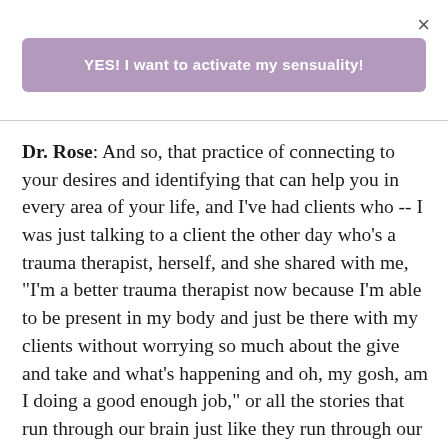×
YES! I want to activate my sensuality!
Dr. Rose: And so, that practice of connecting to your desires and identifying that can help you in every area of your life, and I've had clients who -- I was just talking to a client the other day who's a trauma therapist, herself, and she shared with me, "I'm a better trauma therapist now because I'm able to be present in my body and just be there with my clients without worrying so much about the give and take and what's happening and oh, my gosh, am I doing a good enough job," or all the stories that run through our brain just like they run through our brain in the bedroom. [Laughs] they run